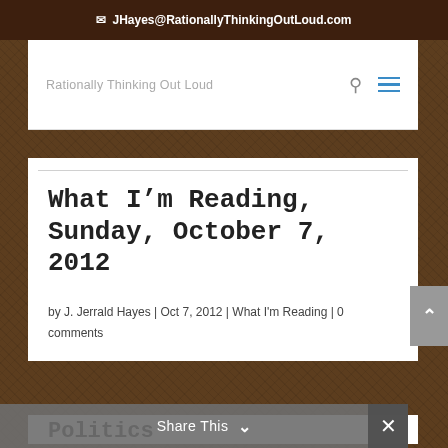JHayes@RationallyThinkingOutLoud.com
Rationally Thinking Out Loud
What I’m Reading, Sunday, October 7, 2012
by J. Jerrald Hayes | Oct 7, 2012 | What I'm Reading | 0 comments
Politics
Share This